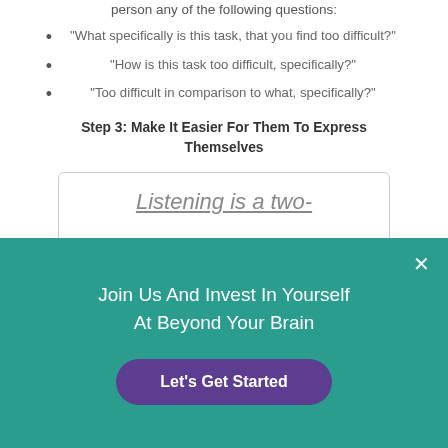person any of the following questions:
“What specifically is this task, that you find too difficult?”
“How is this task too difficult, specifically?”
“Too difficult in comparison to what, specifically?”
Step 3: Make It Easier For Them To Express Themselves
[Figure (other): Partial view of a quote box with underlined italic text: 'Listening is a two-']
Join Us And Invest In Yourself At Beyond Your Brain
Let's Get Started